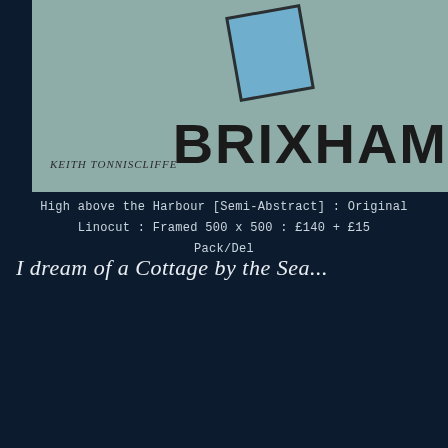[Figure (photo): Linocut artwork showing 'BRIXHAM' text in bold black letters on a teal/grey background with a blue geometric shape and artist signature 'Keith Tonniscliffe' at bottom left]
High above the Harbour [Semi-Abstract] : Original Linocut : Framed 500 x 500 : £140 + £15 Pack/Del
I dream of a Cottage by the Sea...
[Figure (photo): Framed watercolour painting of a harbour scene with colourful buildings, boats, and a copyright watermark symbol, displayed in a white frame]